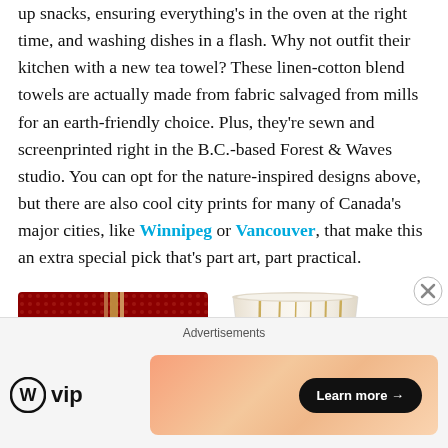up snacks, ensuring everything's in the oven at the right time, and washing dishes in a flash. Why not outfit their kitchen with a new tea towel? These linen-cotton blend towels are actually made from fabric salvaged from mills for an earth-friendly choice. Plus, they're sewn and screenprinted right in the B.C.-based Forest & Waves studio. You can opt for the nature-inspired designs above, but there are also cool city prints for many of Canada's major cities, like Winnipeg or Vancouver, that make this an extra special pick that's part art, part practical.
[Figure (photo): Product photo showing a red NEST Fragrances holiday gift box on the left and a white-and-gold striped glass candle on the right]
[Figure (logo): WordPress VIP logo (circle W icon next to 'vip' text) followed by a gradient advertisement banner with 'Learn more →' button]